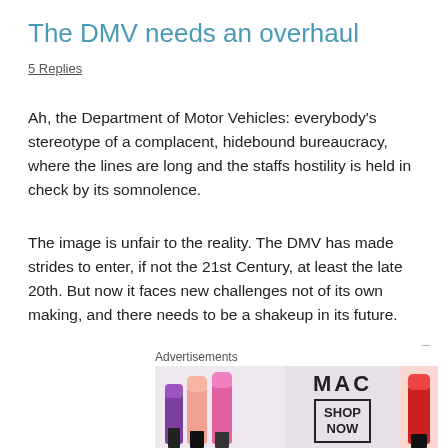The DMV needs an overhaul
5 Replies
Ah, the Department of Motor Vehicles: everybody’s stereotype of a complacent, hidebound bureaucracy, where the lines are long and the staffs hostility is held in check by its somnolence.
The image is unfair to the reality. The DMV has made strides to enter, if not the 21st Century, at least the late 20th. But now it faces new challenges not of its own making, and there needs to be a shakeup in its future.
Among those challenges: responsibility for voter registration
[Figure (illustration): MAC cosmetics advertisement showing lipsticks and SHOP NOW button]